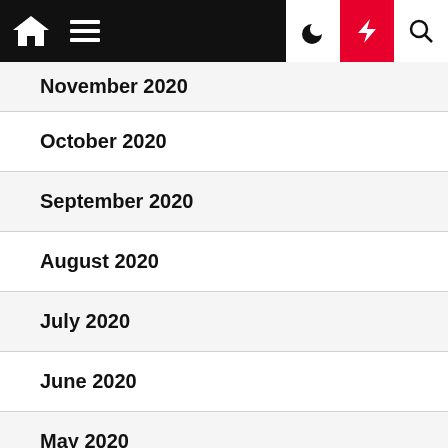Navigation bar with home, menu, dark mode, lightning/flash, and search icons
November 2020
October 2020
September 2020
August 2020
July 2020
June 2020
May 2020
April 2020
March 2020
June 2017